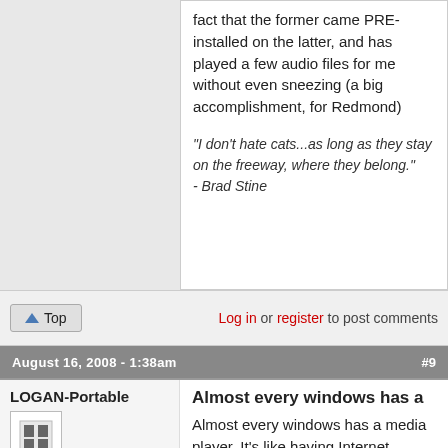fact that the former came PRE-installed on the latter, and has played a few audio files for me without even sneezing (a big accomplishment, for Redmond)
"I don't hate cats...as long as they stay on the freeway, where they belong." - Brad Stine
Top   Log in or register to post comments
August 16, 2008 - 1:38am   #9
LOGAN-Portable
Offline
Last seen: 9 years 6 months ago
Almost every windows has a
Almost every windows has a media player. It's like having Internet Explorer portable while every windows already has Internet Explorer.
I highly suggest you check out some